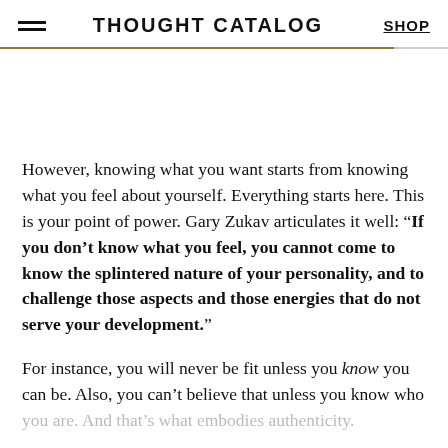THOUGHT CATALOG
However, knowing what you want starts from knowing what you feel about yourself. Everything starts here. This is your point of power. Gary Zukav articulates it well: “If you don’t know what you feel, you cannot come to know the splintered nature of your personality, and to challenge those aspects and those energies that do not serve your development.”
For instance, you will never be fit unless you know you can be. Also, you can’t believe that unless you know who you are. And that’s what embodies authenticity.